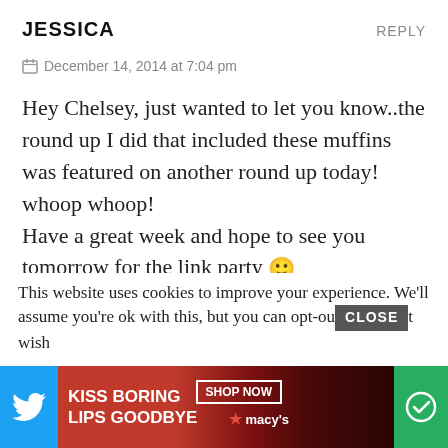JESSICA
REPLY
December 14, 2014 at 7:04 pm
Hey Chelsey, just wanted to let you know..the round up I did that included these muffins was featured on another round up today!
whoop whoop!
Have a great week and hope to see you tomorrow for the link party 🙂
Jess
CHELSEY
REPLY
This website uses cookies to improve your experience. We'll assume you're ok with this, but you can opt-out if you wish
[Figure (infographic): Advertisement bar at bottom: Twitter bird icon on blue background on left, KISS BORING LIPS GOODBYE text on red background with woman's face/lips image in center, SHOP NOW button and Macy's star logo on right side, green icon on far right]